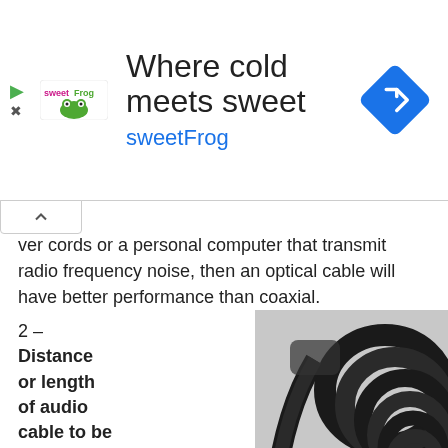[Figure (other): Advertisement banner for sweetFrog frozen yogurt: 'Where cold meets sweet' with sweetFrog logo and a blue diamond navigation icon.]
ver cords or a personal computer that transmit radio frequency noise, then an optical cable will have better performance than coaxial.
2 – Distance or length of audio cable to be used.
[Figure (photo): Photo of a coaxial audio cable with a gold-tipped RCA connector, coiled on a white background.]
Optical cables provide better sound quality over distance when compared to coaxial. If you need to run speaker wire for distances exceeding 10 feet, then optical cables will provider higher sound...